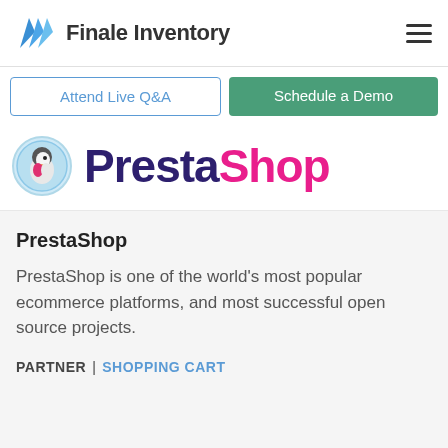[Figure (logo): Finale Inventory logo with blue chevron-style icon and dark gray text]
Attend Live Q&A
Schedule a Demo
[Figure (logo): PrestaShop logo: circular puffin bird icon with light blue border, and PrestaShop wordmark in dark purple and pink]
PrestaShop
PrestaShop is one of the world's most popular ecommerce platforms, and most successful open source projects.
PARTNER | SHOPPING CART